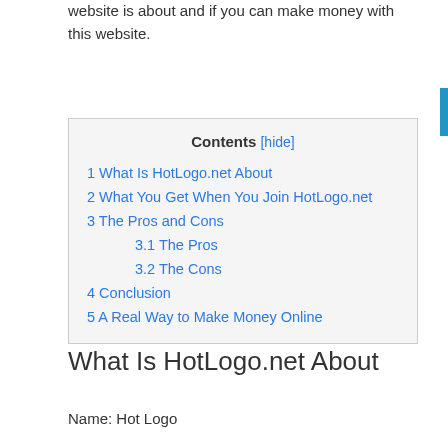website is about and if you can make money with this website.
| 1 What Is HotLogo.net About |
| 2 What You Get When You Join HotLogo.net |
| 3 The Pros and Cons |
| 3.1 The Pros |
| 3.2 The Cons |
| 4 Conclusion |
| 5 A Real Way to Make Money Online |
What Is HotLogo.net About
Name: Hot Logo